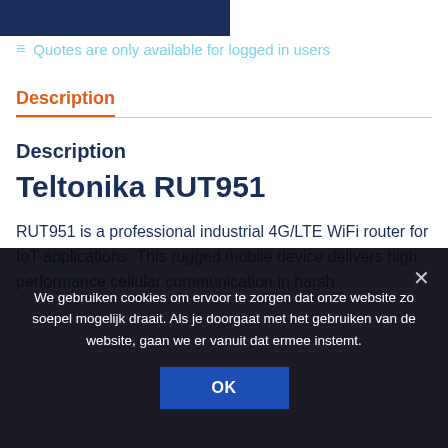[Figure (screenshot): Dark navy blue header bar / logo area at top left]
≡ Quotes are only available for logged in users
Description
Description
Teltonika RUT951
RUT951 is a professional industrial 4G/LTE WiFi router for IoT applications. This rugged mobile device delivers high performance cellular communication in harsh
We gebruiken cookies om ervoor te zorgen dat onze website zo soepel mogelijk draait. Als je doorgaat met het gebruiken van de website, gaan we er vanuit dat ermee instemt.
OK